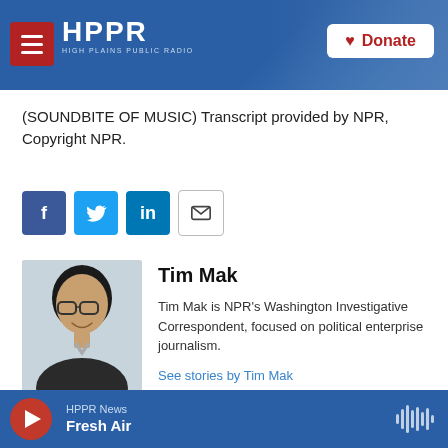[Figure (screenshot): HPPR (High Plains Public Radio) website header with logo, hamburger menu, and Donate button on blue gradient background]
(SOUNDBITE OF MUSIC) Transcript provided by NPR, Copyright NPR.
[Figure (infographic): Social sharing buttons: Facebook (f), Twitter (bird), LinkedIn (in), Email (envelope icon)]
[Figure (photo): Headshot photo of Tim Mak, smiling man with glasses]
Tim Mak
Tim Mak is NPR's Washington Investigative Correspondent, focused on political enterprise journalism.
See stories by Tim Mak
HPPR News Fresh Air